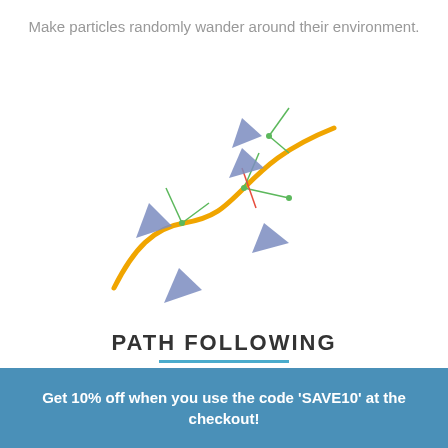Make particles randomly wander around their environment.
[Figure (illustration): Diagram showing path following: an orange curved path with blue/grey arrow-shaped particles following it, with green lines showing steering vectors and a red line showing the path normal.]
PATH FOLLOWING
Make particles move along a predetermined path.
[Figure (illustration): Partial preview of another diagram showing grey rectangular obstacles and a small green particle/arrow.]
Get 10% off when you use the code 'SAVE10' at the checkout!